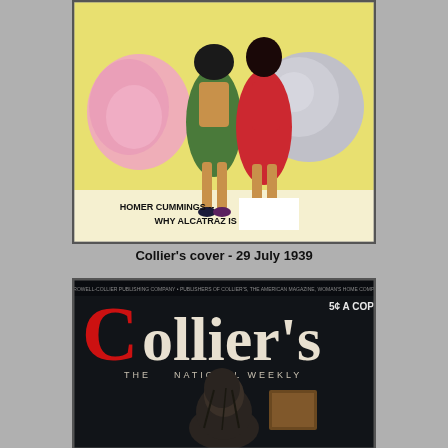[Figure (illustration): Collier's magazine cover from 29 July 1939 showing two women in colorful dresses (one pink, one red) carrying oversized items, with text 'HOMER CUMMINGS -- WHY ALCATRAZ IS A S[...]' at the bottom on a yellow background.]
Collier's cover - 29 July 1939
[Figure (illustration): Collier's magazine cover showing the masthead 'Collier's' in large letters with 'THE NATIONAL WEEKLY' subtitle and '5¢ A COPY' price, over a dark background with a robed figure.]